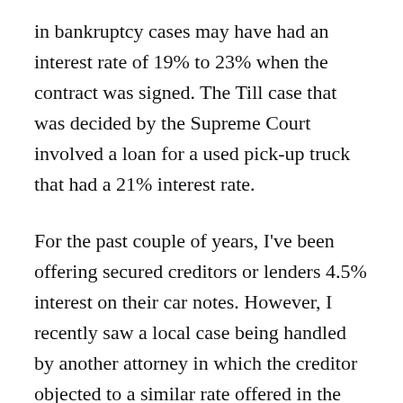in bankruptcy cases may have had an interest rate of 19% to 23% when the contract was signed. The Till case that was decided by the Supreme Court involved a loan for a used pick-up truck that had a 21% interest rate.
For the past couple of years, I've been offering secured creditors or lenders 4.5% interest on their car notes. However, I recently saw a local case being handled by another attorney in which the creditor objected to a similar rate offered in the proposed plan for the debtor. The